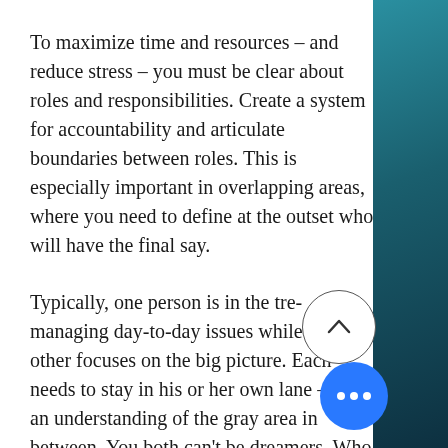To maximize time and resources – and reduce stress – you must be clear about roles and responsibilities. Create a system for accountability and articulate boundaries between roles. This is especially important in overlapping areas, where you need to define at the outset who will have the final say.
Typically, one person is in the tre managing day-to-day issues while the other focuses on the big picture. Each needs to stay in his or her own lane – with an understanding of the gray area in between. You both can't be dreamers. Who would do the wor